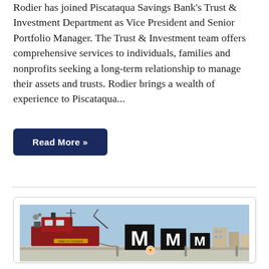Rodier has joined Piscataqua Savings Bank's Trust & Investment Department as Vice President and Senior Portfolio Manager. The Trust & Investment team offers comprehensive services to individuals, families and nonprofits seeking a long-term relationship to manage their assets and trusts. Rodier brings a wealth of experience to Piscataqua...
Read More »
[Figure (photo): Photograph of a red tugboat docked at a harbor with large black letter M signs visible on the dock, blue sky in background.]